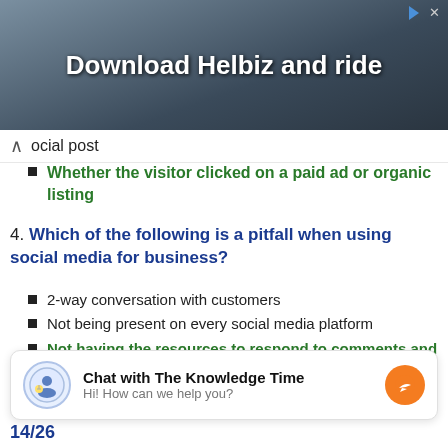[Figure (photo): Advertisement banner showing a person with camera equipment, text 'Download Helbiz and ride']
ocial post
Whether the visitor clicked on a paid ad or organic listing
4. Which of the following is a pitfall when using social media for business?
2-way conversation with customers
Not being present on every social media platform
Not having the resources to respond to comments and questions in a timely manner
Spending too much time reviewing social media analytics
Chat with The Knowledge Time
Hi! How can we help you?
14/26